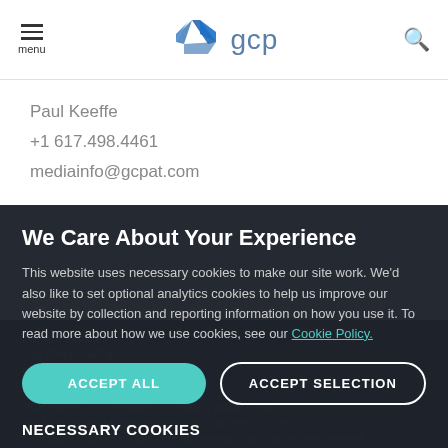menu | gcp logo | search
Paul Keeffe
+1 617.498.4461
mediainfo@gcpat.com
We Care About Your Experience
This website uses necessary cookies to make our site work. We'd also like to set optional analytics cookies to help us improve our website by collection and reporting information on how you use it. To read more about how we use cookies, see our Cookie Policy.
ACCEPT ALL
ACCEPT SELECTION
NECESSARY COOKIES
Investor Relations
Joe Dechristofaro
GCP Applied Technologies is a leading global provider of products and technology solutions for customers in the
Necessary Cookies enable core functionality such as security, network